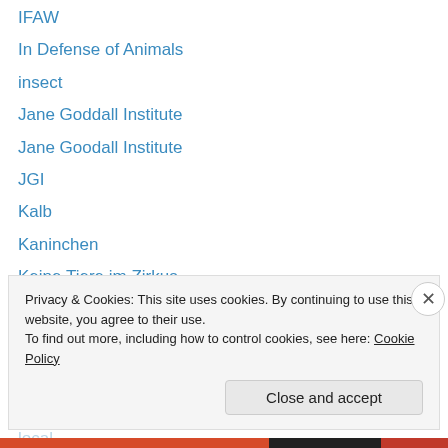IFAW
In Defense of Animals
insect
Jane Goddall Institute
Jane Goodall Institute
JGI
Kalb
Kaninchen
Keine Tiere im Zirkus
killing
Kormoran
Kuh
Lachs
local
Privacy & Cookies: This site uses cookies. By continuing to use this website, you agree to their use. To find out more, including how to control cookies, see here: Cookie Policy
Close and accept